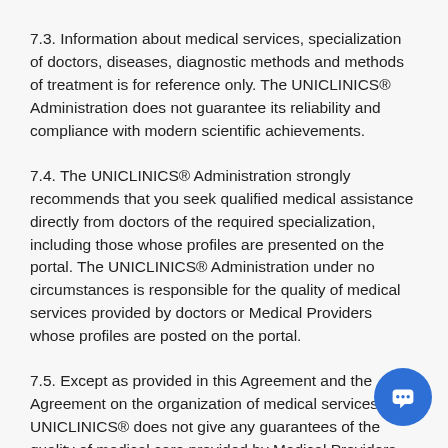7.3. Information about medical services, specialization of doctors, diseases, diagnostic methods and methods of treatment is for reference only. The UNICLINICS® Administration does not guarantee its reliability and compliance with modern scientific achievements.
7.4. The UNICLINICS® Administration strongly recommends that you seek qualified medical assistance directly from doctors of the required specialization, including those whose profiles are presented on the portal. The UNICLINICS® Administration under no circumstances is responsible for the quality of medical services provided by doctors or Medical Providers whose profiles are posted on the portal.
7.5. Except as provided in this Agreement and the Agreement on the organization of medical services, UNICLINICS® does not give any guarantees of the quality of medical care provided by Medical Providers.